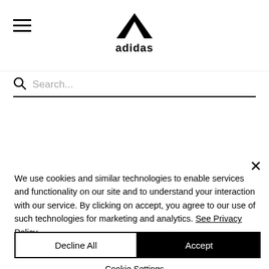[Figure (logo): Adidas logo with three stripes and wordmark 'adidas']
[Figure (screenshot): Navigation menu showing hamburger icon, adidas logo, black rectangle on right, search bar with placeholder 'Search...']
Benches
Cardio
SUPPORT
We use cookies and similar technologies to enable services and functionality on our site and to understand your interaction with our service. By clicking on accept, you agree to our use of such technologies for marketing and analytics. See Privacy Policy
Decline All
Accept
Cookie Settings